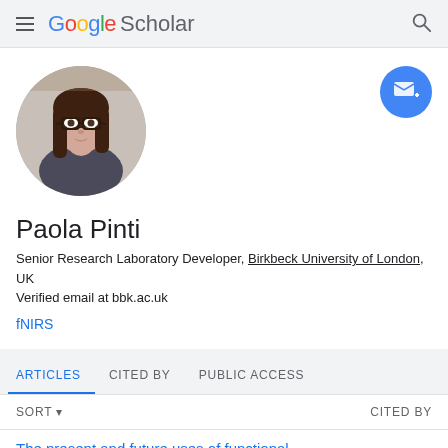Google Scholar
[Figure (photo): Circular profile photo of Paola Pinti, a woman with long brown hair and glasses]
Paola Pinti
Senior Research Laboratory Developer, Birkbeck University of London, UK
Verified email at bbk.ac.uk
fNIRS
ARTICLES   CITED BY   PUBLIC ACCESS
SORT ▾   CITED BY
The present and future uses of functional...